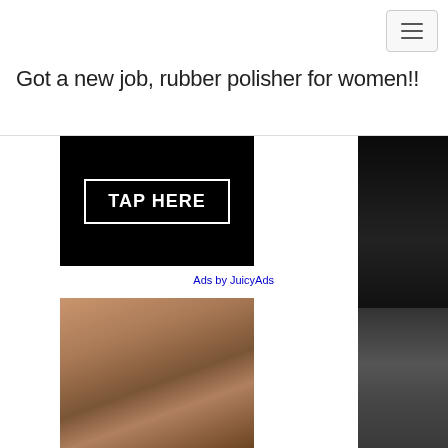[Figure (other): Hamburger menu navigation button with three horizontal lines]
Got a new job, rubber polisher for women!!
[Figure (other): Advertisement banner with black background and white-bordered button reading TAP HERE]
Ads by JuicyAds
[Figure (photo): Photo of a woman's face tilted back with eyes closed]
[Figure (photo): Dark fabric or background photo on right side]
[Figure (photo): Dark scene photo on lower right side]